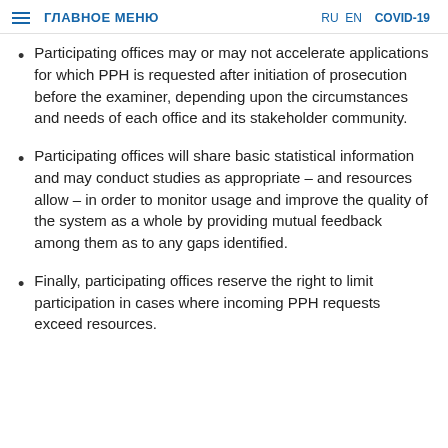ГЛАВНОЕ МЕНЮ   RU  EN  COVID-19
Participating offices may or may not accelerate applications for which PPH is requested after initiation of prosecution before the examiner, depending upon the circumstances and needs of each office and its stakeholder community.
Participating offices will share basic statistical information and may conduct studies as appropriate – and resources allow – in order to monitor usage and improve the quality of the system as a whole by providing mutual feedback among them as to any gaps identified.
Finally, participating offices reserve the right to limit participation in cases where incoming PPH requests exceed resources.